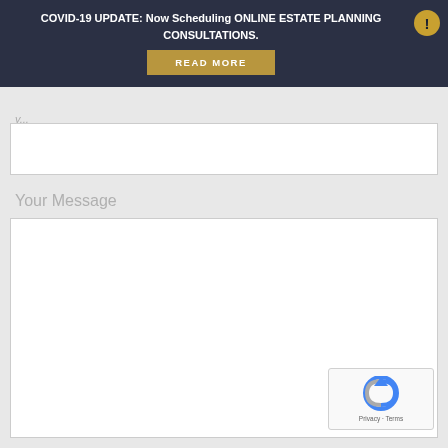COVID-19 UPDATE: Now Scheduling ONLINE ESTATE PLANNING CONSULTATIONS.
READ MORE
y...
Your Message
[Figure (other): reCAPTCHA widget with Privacy and Terms text]